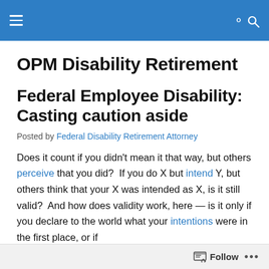OPM Disability Retirement (site navigation header)
OPM Disability Retirement
Federal Employee Disability: Casting caution aside
Posted by Federal Disability Retirement Attorney
Does it count if you didn't mean it that way, but others perceive that you did? If you do X but intend Y, but others think that your X was intended as X, is it still valid? And how does validity work, here — is it only if you declare to the world what your intentions were in the first place, or if
Follow ...